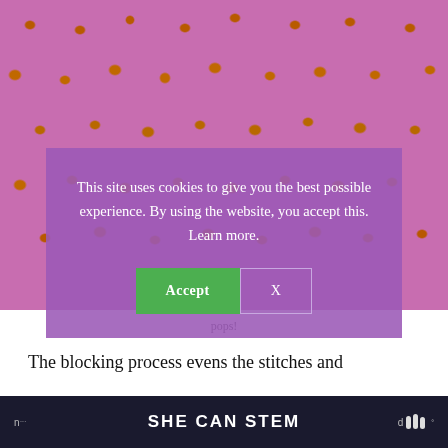[Figure (photo): Close-up photograph of purple/pink knitted fabric with orange/brown bobble or seed stitch texture popping out across the surface.]
This site uses cookies to give you the best possible experience. By using the website, you accept this. Learn more.
Accept
X
pops!
The blocking process evens the stitches and
n... SHE CAN STEM d w°